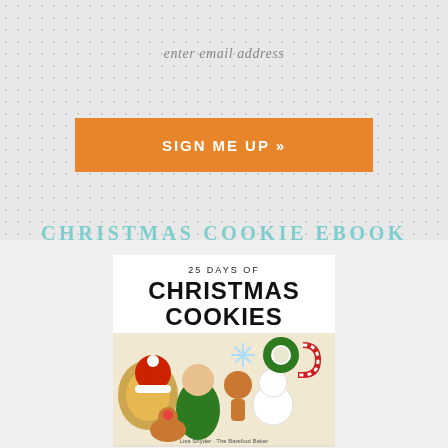enter email address
SIGN ME UP »
CHRISTMAS COOKIE EBOOK
[Figure (illustration): Book cover for '25 Days of Christmas Cookies' by Lisa Snyder - The Barefoot Baker, showing decorated Christmas cookies including Santa, snowman, elf, reindeer, and other holiday figures. Below is a reflection of the book cover.]